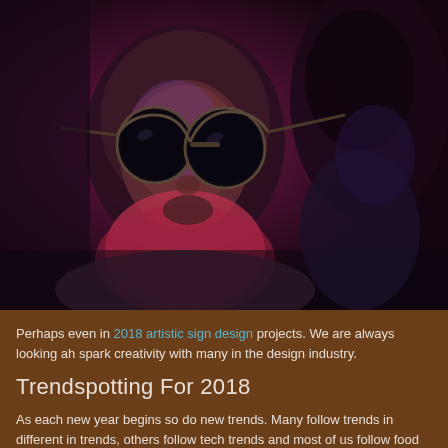[Figure (photo): Close-up photo of a person wearing large round dark sunglasses, in a dimly lit scene with purple and red tones. Another person is visible in the background on the right.]
Perhaps even in 2018 artistic sign design projects.  We are always looking ah spark creativity with many in the design industry.
Trendspotting For 2018
As each new year begins so do new trends.  Many follow trends in different in trends, others follow tech trends and most of us follow food trends.